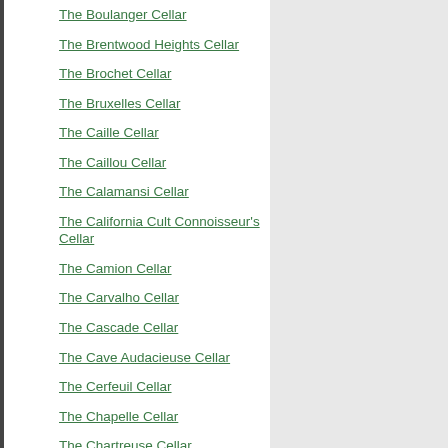The Boulanger Cellar
The Brentwood Heights Cellar
The Brochet Cellar
The Bruxelles Cellar
The Caille Cellar
The Caillou Cellar
The Calamansi Cellar
The California Cult Connoisseur's Cellar
The Camion Cellar
The Carvalho Cellar
The Cascade Cellar
The Cave Audacieuse Cellar
The Cerfeuil Cellar
The Chapelle Cellar
The Chartreuse Cellar
The Ciliegia Cellar
The Cipresso Cellar: Direct From the